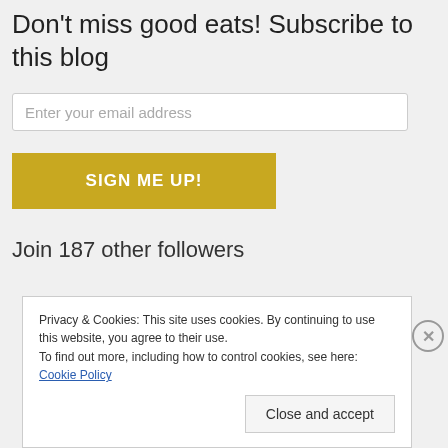Don't miss good eats! Subscribe to this blog
Enter your email address
SIGN ME UP!
Join 187 other followers
Privacy & Cookies: This site uses cookies. By continuing to use this website, you agree to their use.
To find out more, including how to control cookies, see here: Cookie Policy
Close and accept